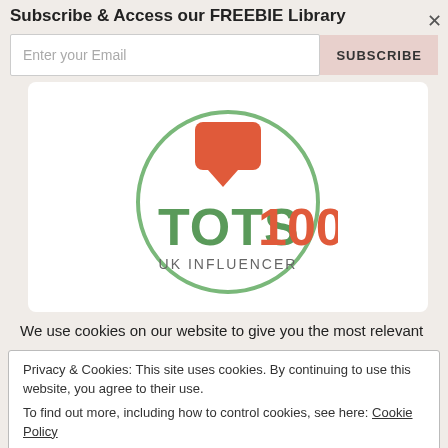Subscribe & Access our FREEBIE Library
Enter your Email
SUBSCRIBE
[Figure (logo): TOTS100 UK Influencer badge — circular green border with a red speech bubble icon, green text 'TOTS' and orange text '100', subtitle 'UK INFLUENCER']
We use cookies on our website to give you the most relevant
Privacy & Cookies: This site uses cookies. By continuing to use this website, you agree to their use.
To find out more, including how to control cookies, see here: Cookie Policy
Close and accept